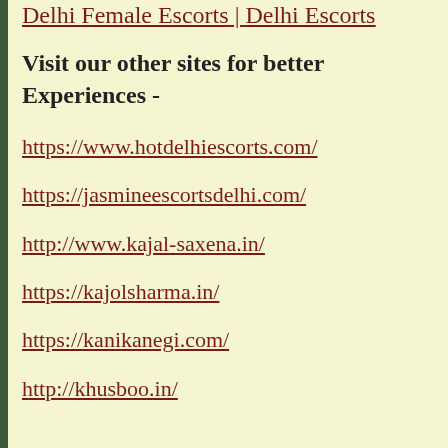Delhi Female Escorts | Delhi Escorts
Visit our other sites for better Experiences -
https://www.hotdelhiescorts.com/
https://jasmineescortsdelhi.com/
http://www.kajal-saxena.in/
https://kajolsharma.in/
https://kanikanegi.com/
http://khusboo.in/